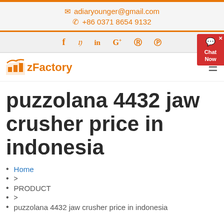✉ adiaryounger@gmail.com  ✆ +86 0371 8654 9132
[Figure (other): Social media icons bar: facebook, twitter, linkedin, google+, pinterest, youtube]
[Figure (logo): zFactory logo with orange factory icon and orange text 'zFactory']
puzzolana 4432 jaw crusher price in indonesia
Home
>
PRODUCT
>
puzzolana 4432 jaw crusher price in indonesia